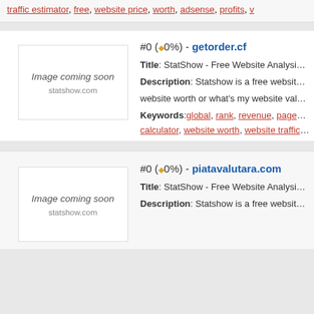traffic estimator, free, website price, worth, adsense, profits, ...
#0 (◆0%) - getorder.cf
[Figure (illustration): Image coming soon placeholder for getorder.cf, statshow.com]
Title: StatShow - Free Website Analysis and Traffic Estimator...
Description: Statshow is a free website worth or value calculator...
website worth or what's my website value? Just type the web...
Keywords: global, rank, revenue, pageviews, visitors, visits...
calculator, website worth, website traffic estimator, traffic esti...
#0 (◆0%) - piatavalutara.com
[Figure (illustration): Image coming soon placeholder for piatavalutara.com, statshow.com]
Title: StatShow - Free Website Analysis and Traffic Estimator...
Description: Statshow is a free website worth or value calc...